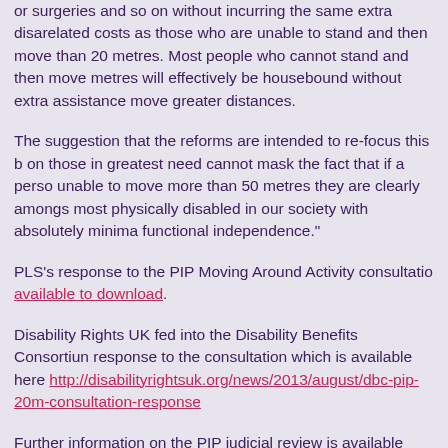or surgeries and so on without incurring the same extra disability-related costs as those who are unable to stand and then move more than 20 metres. Most people who cannot stand and then move 20 metres will effectively be housebound without extra assistance to move greater distances.
The suggestion that the reforms are intended to re-focus this benefit on those in greatest need cannot mask the fact that if a person is unable to move more than 50 metres they are clearly amongst the most physically disabled in our society with absolutely minimal functional independence."
PLS's response to the PIP Moving Around Activity consultation is available to download.
Disability Rights UK fed into the Disability Benefits Consortium response to the consultation which is available here http://disabilityrightsuk.org/news/2013/august/dbc-pip-20m-consultation-response
Further information on the PIP judicial review is available here http://disabilityrightsuk.org/news/2013/april/we-support-pip-m...